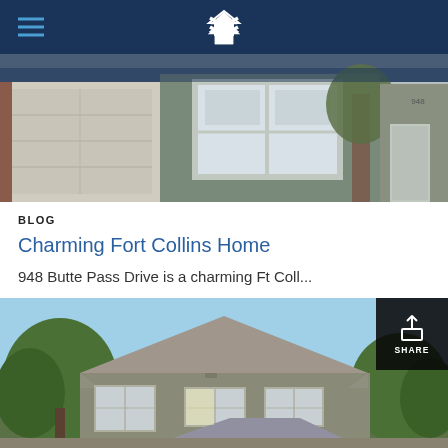[Figure (photo): Exterior photo of a brick and siding townhome with white-trimmed windows, a beige garage door, and a tree in front]
BLOG
Charming Fort Collins Home
948 Butte Pass Drive is a charming Ft Coll...
[Figure (photo): Exterior photo of a single-story ranch-style home with gray roof, three dormers, beige siding, and green trees in background. A SHARE button overlay appears in the top right corner.]